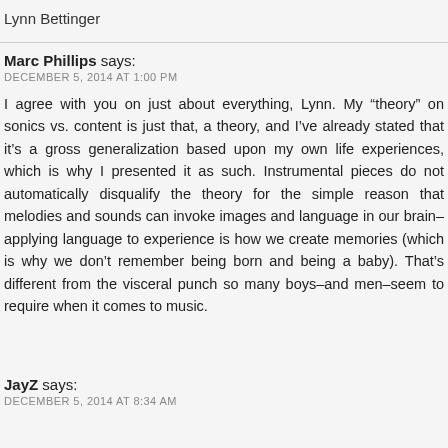Lynn Bettinger
Marc Phillips says:
DECEMBER 5, 2014 AT 1:00 PM
I agree with you on just about everything, Lynn. My “theory” on sonics vs. content is just that, a theory, and I’ve already stated that it’s a gross generalization based upon my own life experiences, which is why I presented it as such. Instrumental pieces do not automatically disqualify the theory for the simple reason that melodies and sounds can invoke images and language in our brain–applying language to experience is how we create memories (which is why we don’t remember being born and being a baby). That’s different from the visceral punch so many boys–and men–seem to require when it comes to music.
JayZ says:
DECEMBER 5, 2014 AT 8:34 AM